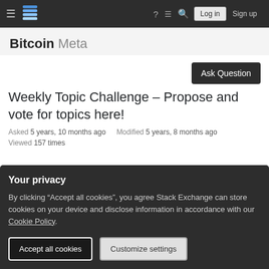≡  [Bitcoin Stack Exchange logo]  ?  ≡  🔍  Log in  Sign up
Bitcoin Meta
Ask Question
Weekly Topic Challenge – Propose and vote for topics here!
Asked 5 years, 10 months ago   Modified 5 years, 8 months ago
Viewed 157 times
Your privacy
By clicking "Accept all cookies", you agree Stack Exchange can store cookies on your device and disclose information in accordance with our Cookie Policy.
Accept all cookies   Customize settings